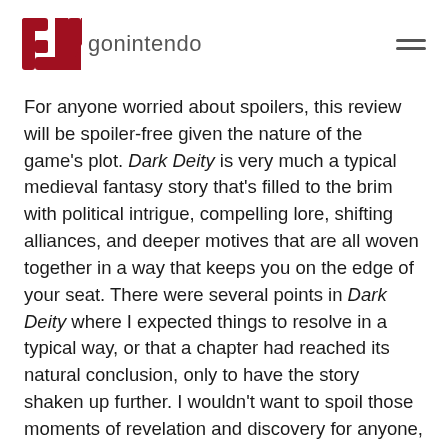gonintendo
For anyone worried about spoilers, this review will be spoiler-free given the nature of the game’s plot. Dark Deity is very much a typical medieval fantasy story that’s filled to the brim with political intrigue, compelling lore, shifting alliances, and deeper motives that are all woven together in a way that keeps you on the edge of your seat. There were several points in Dark Deity where I expected things to resolve in a typical way, or that a chapter had reached its natural conclusion, only to have the story shaken up further. I wouldn’t want to spoil those moments of revelation and discovery for anyone, but I was impressed by the depth of the game’s story and how it managed to keep me thoroughly engaged and invested in the plight of the young heroes.